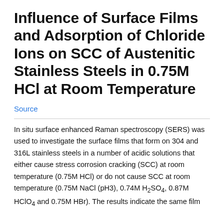Influence of Surface Films and Adsorption of Chloride Ions on SCC of Austenitic Stainless Steels in 0.75M HCl at Room Temperature
Source
In situ surface enhanced Raman spectroscopy (SERS) was used to investigate the surface films that form on 304 and 316L stainless steels in a number of acidic solutions that either cause stress corrosion cracking (SCC) at room temperature (0.75M HCl) or do not cause SCC at room temperature (0.75M NaCl (pH3), 0.74M H₂SO₄, 0.87M HClO₄ and 0.75M HBr). The results indicate the same film